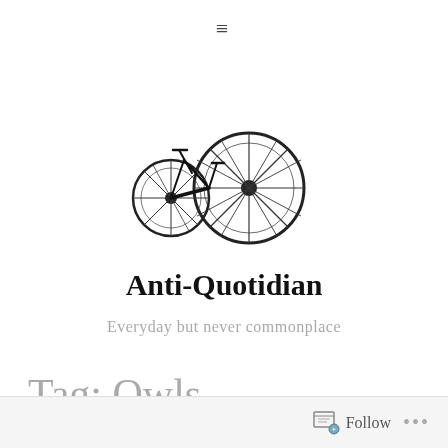≡
[Figure (illustration): Black and white illustration of a bicycle wheel and frame, artistic sketch style]
Anti-Quotidian
Everyday but never commonplace
Tag: Owls
Follow ...